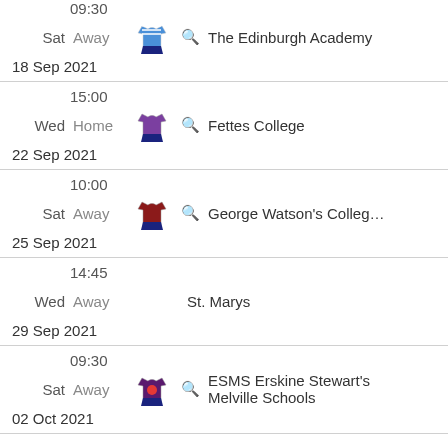09:30 Sat Away The Edinburgh Academy 18 Sep 2021
15:00 Wed Home Fettes College 22 Sep 2021
10:00 Sat Away George Watson's College 25 Sep 2021
14:45 Wed Away St. Marys 29 Sep 2021
09:30 Sat Away ESMS Erskine Stewart's Melville Schools 02 Oct 2021